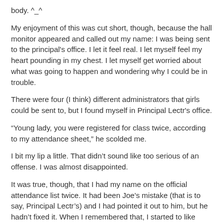body. ^_^
My enjoyment of this was cut short, though, because the hall monitor appeared and called out my name: I was being sent to the principal's office. I let it feel real. I let myself feel my heart pounding in my chest. I let myself get worried about what was going to happen and wondering why I could be in trouble.
There were four (I think) different administrators that girls could be sent to, but I found myself in Principal Lectr's office.
“Young lady, you were registered for class twice, according to my attendance sheet,” he scolded me.
I bit my lip a little. That didn’t sound like too serious of an offense. I was almost disappointed.
It was true, though, that I had my name on the official attendance list twice. It had been Joe’s mistake (that is to say, Principal Lectr’s) and I had pointed it out to him, but he hadn’t fixed it. When I remembered that, I started to like where this was going.
“But sir,” I began, “it isn’t my fault that my name appeared on the list twice! You put it there by mistake, and I was trying to correct you.”